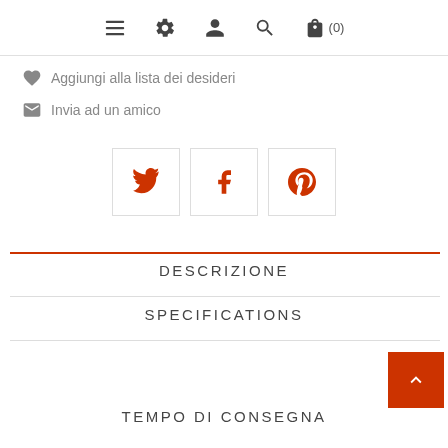[Figure (screenshot): Top navigation bar with hamburger menu, settings gear, user profile, search, and shopping bag icons with (0) cart count]
Aggiungi alla lista dei desideri
Invia ad un amico
[Figure (infographic): Three social share buttons: Twitter (bird icon), Facebook (f icon), Pinterest (p icon), each in a square bordered box with orange-red icons]
DESCRIZIONE
SPECIFICATIONS
TEMPO DI CONSEGNA